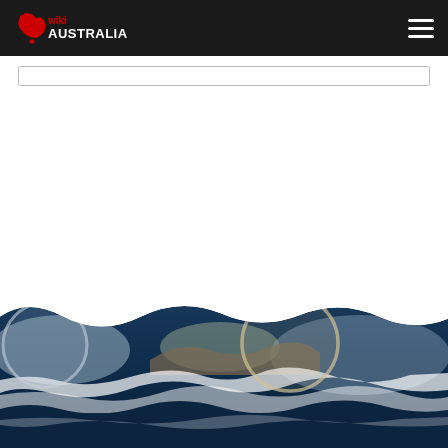wiki AUSTRALIA — navigation bar with logo and hamburger menu
[Figure (screenshot): Wiki Australia website screenshot showing a dark navigation bar with the Wiki Australia logo (Australia map icon with 'wiki' in red and 'AUSTRALIA' in white text) on the left and a hamburger menu icon on the right. Below is a white content area with a search bar outline. The lower portion shows an aerial ocean/coastal photograph with crashing waves on dark blue water, rocks, and misty hills in the background, partially obscured by a wave-shaped mask.]